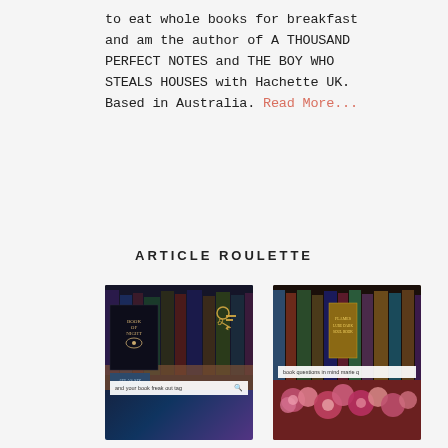to eat whole books for breakfast and am the author of A THOUSAND PERFECT NOTES and THE BOY WHO STEALS HOUSES with Hachette UK. Based in Australia. Read More...
ARTICLE ROULETTE
[Figure (photo): Dark photo showing book covers including 'Book of Night' and 'Atlas Six', with a hand holding books and a decorative key. Overlay tag reads: 'and your book freak out tag']
[Figure (photo): Photo of a bookshelf with colorful book spines and pink/red flowers in the foreground. Overlay tag reads: 'book questions in mind marie q']